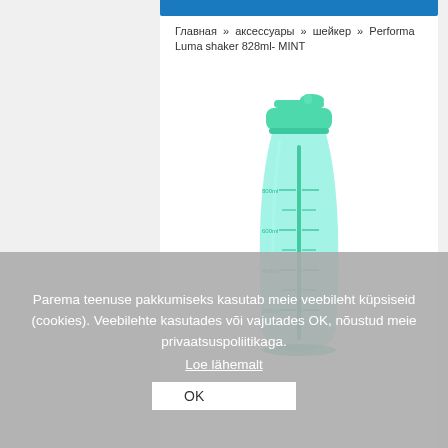Главная » аксессуары » шейкер » Performa Luma shaker 828ml- MINT
[Figure (photo): A mint green Performa Luma shaker bottle 828ml with measurement markings and a flip-top cap]
Parema teenuse pakkumiseks kasutab meie veebileht küpsiseid (cookies). Veebilehte kasutades või vajutades OK, nõustud meie privaatsuspoliitikaga.
Loe lähemalt
OK